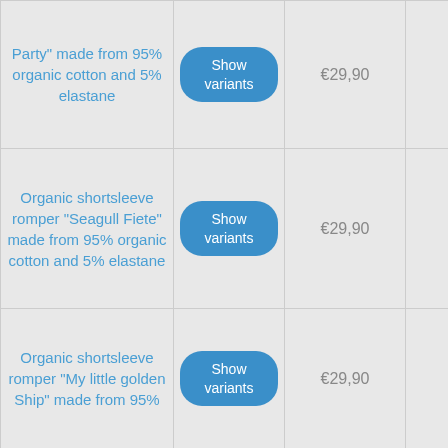| Product | Action | Price |  |
| --- | --- | --- | --- |
| Party" made from 95% organic cotton and 5% elastane | Show variants | €29,90 |  |
| Organic shortsleeve romper "Seagull Fiete" made from 95% organic cotton and 5% elastane | Show variants | €29,90 |  |
| Organic shortsleeve romper "My little golden Ship" made from 95%... | Show variants | €29,90 |  |